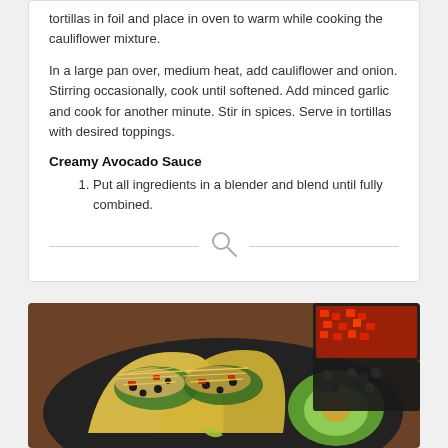tortillas in foil and place in oven to warm while cooking the cauliflower mixture.
In a large pan over, medium heat, add cauliflower and onion. Stirring occasionally, cook until softened. Add minced garlic and cook for another minute. Stir in spices. Serve in tortillas with desired toppings.
Creamy Avocado Sauce
Put all ingredients in a blender and blend until fully combined.
[Figure (photo): Overhead photo of two cauliflower tacos in yellow tortillas topped with shredded cheese, black beans, and red peppers on a dark plate, alongside a halved avocado and bowls of toppings on a wooden surface.]